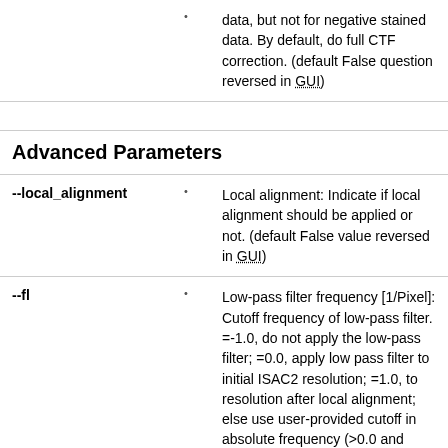data, but not for negative stained data. By default, do full CTF correction. (default False question reversed in GUI)
Advanced Parameters
--local_alignment
Local alignment: Indicate if local alignment should be applied or not. (default False value reversed in GUI)
--fl
Low-pass filter frequency [1/Pixel]: Cutoff frequency of low-pass filter. =-1.0, do not apply the low-pass filter; =0.0, apply low pass filter to initial ISAC2 resolution; =1.0, to resolution after local alignment; else use user-provided cutoff in absolute frequency (>0.0 and <=0.45). (default -1.0)
--pw_adjustment
Power spectrum adjustment method: